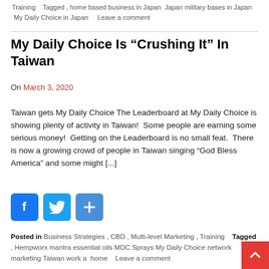Training   Tagged , home based business in Japan Japan military bases in Japan My Daily Choice in Japan     Leave a comment
My Daily Choice Is “Crushing It” In Taiwan
On March 3, 2020
Taiwan gets My Daily Choice The Leaderboard at My Daily Choice is showing plenty of activity in Taiwan!  Some people are earning some serious money!  Getting on the Leaderboard is no small feat.  There is now a growing crowd of people in Taiwan singing “God Bless America” and some might [...]
[Figure (infographic): Social sharing buttons: Facebook (blue), Twitter (light blue), Share (blue with plus sign)]
Posted in Business Strategies , CBD , Multi-level Marketing , Training   Tagged , Hempworx mantra essential oils MDC Sprays My Daily Choice network marketing Taiwan work at home   Leave a comment